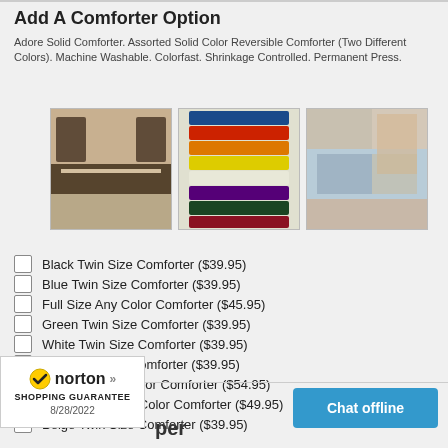Add A Comforter Option
Adore Solid Comforter. Assorted Solid Color Reversible Comforter (Two Different Colors). Machine Washable. Colorfast. Shrinkage Controlled. Permanent Press.
[Figure (photo): Bed with dark and tan comforter]
[Figure (photo): Stack of folded comforters in multiple colors: blue, red, orange, yellow, cream, purple, green, dark red]
[Figure (photo): Bedroom scene with light blue comforter on bed]
Black Twin Size Comforter ($39.95)
Blue Twin Size Comforter ($39.95)
Full Size Any Color Comforter ($45.95)
Green Twin Size Comforter ($39.95)
White Twin Size Comforter ($39.95)
Pink Twin Size Comforter ($39.95)
King Size Any Color Comforter ($54.95)
Queen Size Any Color Comforter ($49.95)
Beige Twin Size Comforter ($39.95)
[Figure (logo): Norton Shopping Guarantee badge, dated 8/28/2022]
per
[Figure (other): Chat offline button]